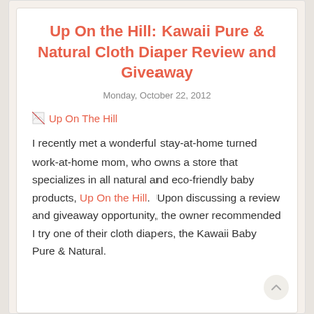Up On the Hill: Kawaii Pure & Natural Cloth Diaper Review and Giveaway
Monday, October 22, 2012
[Figure (other): Broken image placeholder with link text 'Up On The Hill']
I recently met a wonderful stay-at-home turned work-at-home mom, who owns a store that specializes in all natural and eco-friendly baby products, Up On the Hill.  Upon discussing a review and giveaway opportunity, the owner recommended I try one of their cloth diapers, the Kawaii Baby Pure & Natural.